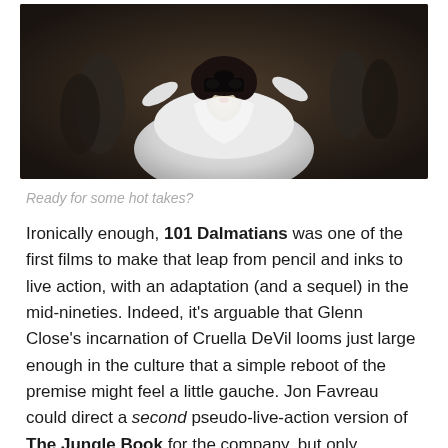[Figure (photo): A woman in a white dramatic costume with a black masquerade mask, dark curly hair, surrounded by people in formal attire in the background. Scene appears to be from the film Cruella.]
Ready for some hot takes?
Ironically enough, 101 Dalmatians was one of the first films to make that leap from pencil and inks to live action, with an adaptation (and a sequel) in the mid-nineties. Indeed, it's arguable that Glenn Close's incarnation of Cruella DeVil looms just large enough in the culture that a simple reboot of the premise might feel a little gauche. Jon Favreau could direct a second pseudo-live-action version of The Jungle Book for the company, but only because the earlier effort had no cultural footprint.
Advertisements